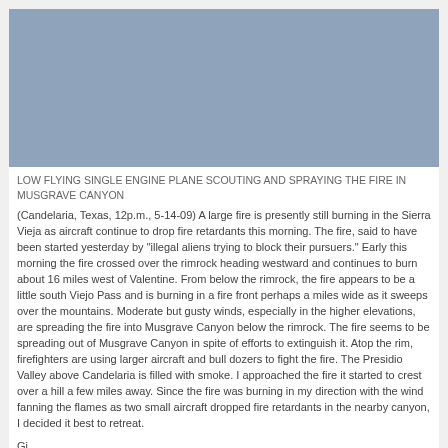[Figure (photo): Blue-gray sky photograph, large landscape image showing low flying single engine plane scouting and spraying fire in Musgrave Canyon]
LOW FLYING SINGLE ENGINE PLANE SCOUTING AND SPRAYING THE FIRE IN MUSGRAVE CANYON
(Candelaria, Texas, 12p.m., 5-14-09) A large fire is presently still burning in the Sierra Vieja as aircraft continue to drop fire retardants this morning. The fire, said to have been started yesterday by "illegal aliens trying to block their pursuers." Early this morning the fire crossed over the rimrock heading westward and continues to burn about 16 miles west of Valentine. From below the rimrock, the fire appears to be a little south Viejo Pass and is burning in a fire front perhaps a miles wide as it sweeps over the mountains. Moderate but gusty winds, especially in the higher elevations, are spreading the fire into Musgrave Canyon below the rimrock. The fire seems to be spreading out of Musgrave Canyon in spite of efforts to extinguish it. Atop the rim, firefighters are using larger aircraft and bull dozers to fight the fire. The Presidio Valley above Candelaria is filled with smoke. I approached the fire it started to crest over a hill a few miles away. Since the fire was burning in my direction with the wind fanning the flames as two small aircraft dropped fire retardants in the nearby canyon, I decided it best to retreat.
Gj
[ view entry ] ( 3239 views )  |  permalink  |  ( 3 / 315492 )